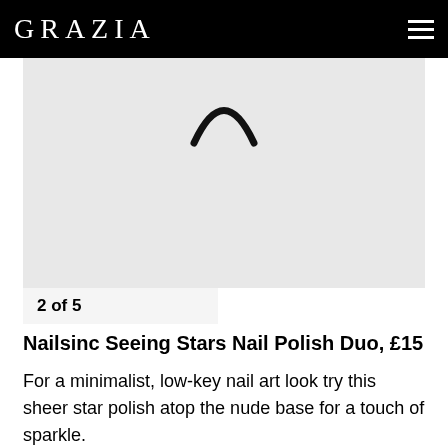GRAZIA
[Figure (photo): Partial product image on light grey background, showing a curved shape at the top]
2 of 5
Nailsinc Seeing Stars Nail Polish Duo, £15
For a minimalist, low-key nail art look try this sheer star polish atop the nude base for a touch of sparkle.